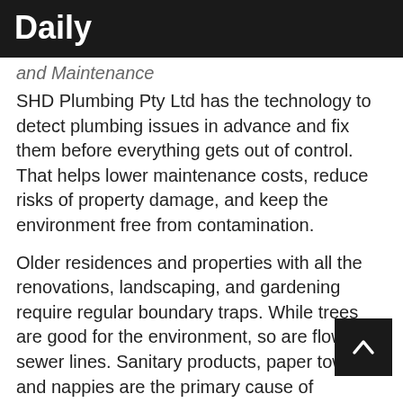Daily
and Maintenance
SHD Plumbing Pty Ltd has the technology to detect plumbing issues in advance and fix them before everything gets out of control. That helps lower maintenance costs, reduce risks of property damage, and keep the environment free from contamination.
Older residences and properties with all the renovations, landscaping, and gardening require regular boundary traps. While trees are good for the environment, so are flowing sewer lines. Sanitary products, paper towels, and nappies are the primary cause of boundary trap blockages.
Tree roots can also cause blockage. When trees grow into pipes, they can cause recurrent clogs and